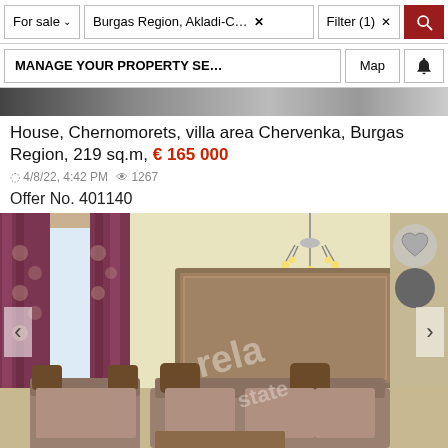For sale | Burgas Region, Akladi-C... × | Filter (1) × | [search]
MANAGE YOUR PROPERTY SE... | Map | [bell]
[Figure (photo): Thumbnail strip of exterior/interior property photos]
House, Chernomorets, villa area Chervenka, Burgas Region, 219 sq.m, € 165 000
4/8/22, 4:42 PM  1267
Offer No. 401140
[Figure (photo): Interior photo of a furnished living room with ornate wooden furniture, chandelier, purple curtains, yellow walls, and a large framed picture. Watermark reads 'rela state'.]